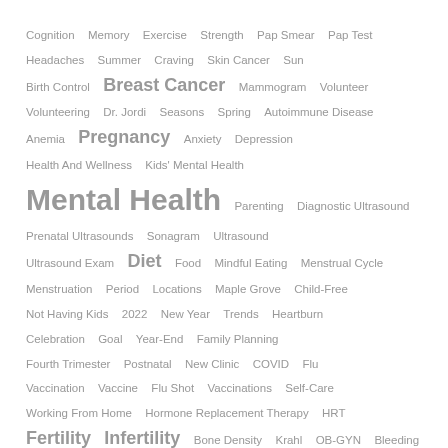[Figure (infographic): A tag cloud (word cloud) showing medical and health-related topics in varying font sizes indicating relative importance/frequency. Larger terms include Mental Health, Breast Cancer, Pregnancy, Diet, Fertility, Infertility. Smaller terms include Cognition, Memory, Exercise, Strength, Pap Smear, Pap Test, Headaches, Summer, Craving, Skin Cancer, Sun, Birth Control, Mammogram, Volunteer, Volunteering, Dr. Jordi, Seasons, Spring, Autoimmune Disease, Anemia, Anxiety, Depression, Health And Wellness, Kids' Mental Health, Parenting, Diagnostic Ultrasound, Prenatal Ultrasounds, Sonagram, Ultrasound, Ultrasound Exam, Food, Mindful Eating, Menstrual Cycle, Menstruation, Period, Locations, Maple Grove, Child-Free, Not Having Kids, 2022, New Year, Trends, Heartburn, Celebration, Goal, Year-End, Family Planning, Fourth Trimester, Postnatal, New Clinic, COVID, Flu, Vaccination, Vaccine, Flu Shot, Vaccinations, Self-Care, Working From Home, Hormone Replacement Therapy, HRT, Bone Density, Krahl, OB-GYN, Bleeding, Periods, Spotting, Biegner, Doctor, Headache, Migraine. All text is gray.]